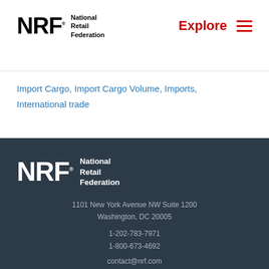NRF National Retail Federation | Explore
Import Cargo, Import Cargo Volume, Imports, International trade
NRF National Retail Federation
1101 New York Avenue NW Suite 1200
Washington, DC 20005
1-202-783-7971
1-800-673-4692
contact@nrf.com